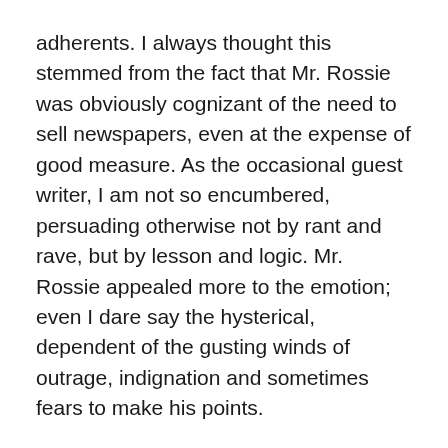adherents.  I always thought this stemmed from the fact that Mr. Rossie was obviously cognizant of the need to sell newspapers, even at the expense of good measure.  As the occasional guest writer, I am not so encumbered, persuading otherwise not by rant and rave, but by lesson and logic.  Mr. Rossie appealed more to the emotion; even I dare say the hysterical, dependent of the gusting winds of outrage, indignation and sometimes fears to make his points.
Mr. Rossi's famous school bus story is recognized as his best work because he took the rare occasion to use the emotional power to paint in yellow, a familiar story, apolitical and free of vitriol.